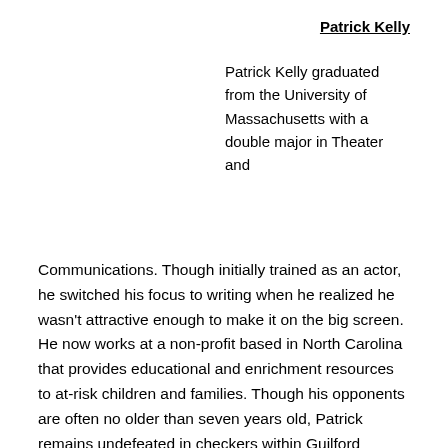Patrick Kelly
Patrick Kelly graduated from the University of Massachusetts with a double major in Theater and
Communications. Though initially trained as an actor, he switched his focus to writing when he realized he wasn't attractive enough to make it on the big screen. He now works at a non-profit based in North Carolina that provides educational and enrichment resources to at-risk children and families. Though his opponents are often no older than seven years old, Patrick remains undefeated in checkers within Guilford County.